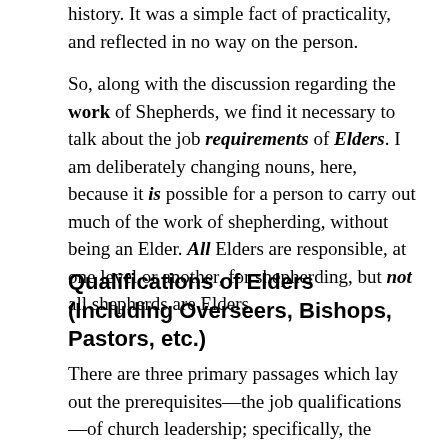history. It was a simple fact of practicality, and reflected in no way on the person.
So, along with the discussion regarding the work of Shepherds, we find it necessary to talk about the job requirements of Elders. I am deliberately changing nouns, here, because it is possible for a person to carry out much of the work of shepherding, without being an Elder. All Elders are responsible, at one level or another, for shepherding, but not all shepherds are Elders.
Qualifications of Elders (Including Overseers, Bishops, Pastors, etc.)
There are three primary passages which lay out the prerequisites—the job qualifications—of church leadership; specifically, the office of "Bishop" (also called Elder, Pastor, Overseer, Shepherd, and Presbyter.) If you